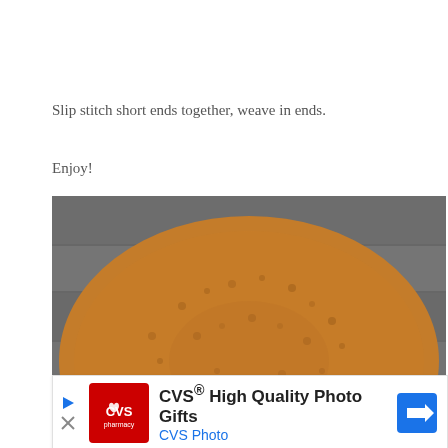Slip stitch short ends together, weave in ends.
Enjoy!
[Figure (photo): Overhead photo of a golden-brown crochet or knit cowl/scarf laid flat on a gray wooden surface, with a small green apple placed in the center of the fabric.]
[Figure (other): Advertisement banner for CVS High Quality Photo Gifts / CVS Photo, showing the CVS pharmacy logo, text 'CVS® High Quality Photo Gifts' and 'CVS Photo', and a blue arrow navigation button on the right.]